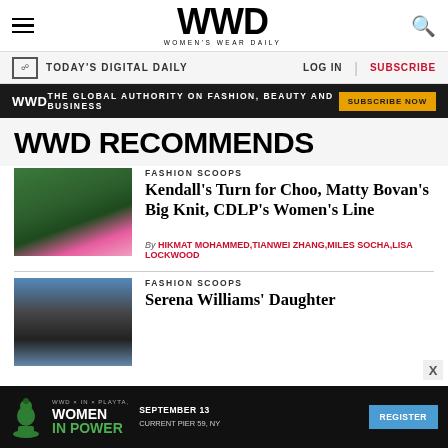WWD | WOMEN'S WEAR DAILY
TODAY'S DIGITAL DAILY | LOG IN | SUBSCRIBE
WWD | THE GLOBAL AUTHORITY ON FASHION, BEAUTY AND BUSINESS | SUBSCRIBE NOW
WWD RECOMMENDS
FASHION SCOOPS
Kendall's Turn for Choo, Matty Bovan's Big Knit, CDLP's Women's Line
By HIKMAT MOHAMMED, TIANWEI ZHANG, MILES SOCHA, LISA LOCKWOOD
[Figure (photo): Model posing on a large green grass-covered rounded sculpture, wearing pink outfit with pink handbag]
FASHION SCOOPS
Serena Williams' Daughter
[Figure (photo): Man with a dark baseball cap and jacket in crowd]
[Figure (infographic): Bottom ad banner: WWD x IN x PLAYTA - WOMEN IN POWER - SEPTEMBER 13 CURRENT PIER 59, NY - REGISTER]